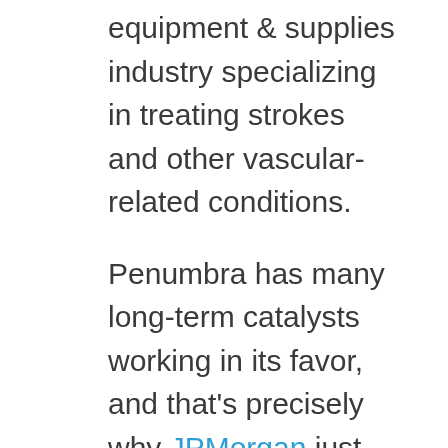equipment & supplies industry specializing in treating strokes and other vascular-related conditions.
Penumbra has many long-term catalysts working in its favor, and that's precisely why JPMorgan just hiked its price target to $245.
Penumbra's leading device is its vascular thrombectomy Indigo Aspiration System. The device aims to remove blood clots in the peripheral arterial and venous systems and treat